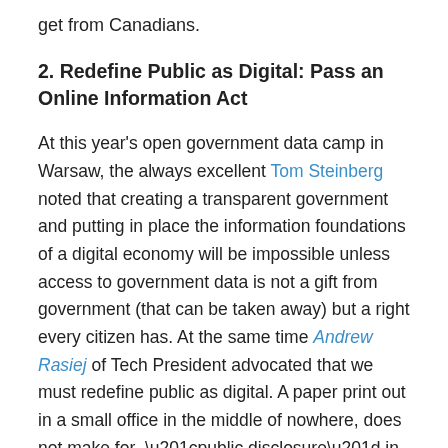get from Canadians.
2. Redefine Public as Digital: Pass an Online Information Act
At this year's open government data camp in Warsaw, the always excellent Tom Steinberg noted that creating a transparent government and putting in place the information foundations of a digital economy will be impossible unless access to government data is not a gift from government (that can be taken away) but a right every citizen has. At the same time Andrew Rasiej of Tech President advocated that we must redefine public as digital. A paper print out in a small office in the middle of nowhere, does not make for “public disclosure” in the 21st century. It’s bad for democracy, it’s bad for transparency, and it is grossly inefficient for government.